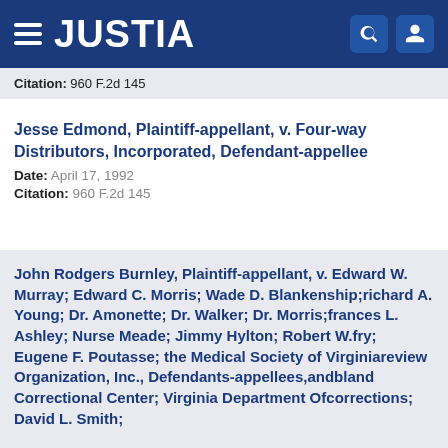JUSTIA
Citation: 960 F.2d 145
Jesse Edmond, Plaintiff-appellant, v. Four-way Distributors, Incorporated, Defendant-appellee
Date: April 17, 1992
Citation: 960 F.2d 145
John Rodgers Burnley, Plaintiff-appellant, v. Edward W. Murray; Edward C. Morris; Wade D. Blankenship;richard A. Young; Dr. Amonette; Dr. Walker; Dr. Morris;frances L. Ashley; Nurse Meade; Jimmy Hylton; Robert W.fry; Eugene F. Poutasse; the Medical Society of Virginiareview Organization, Inc., Defendants-appellees,andbland Correctional Center; Virginia Department Ofcorrections; David L. Smith;